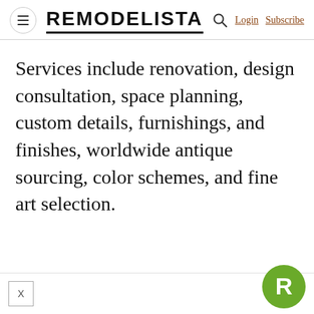REMODELISTA  Login  Subscribe
Services include renovation, design consultation, space planning, custom details, furnishings, and finishes, worldwide antique sourcing, color schemes, and fine art selection.